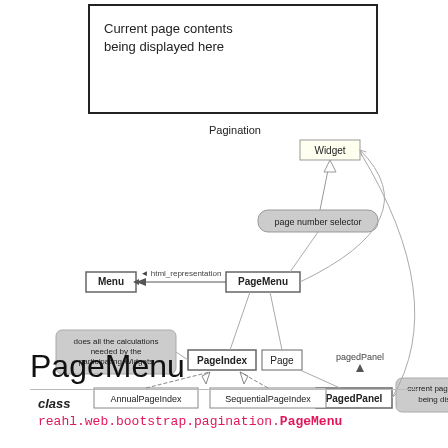[Figure (engineering-diagram): UML class diagram showing Pagination widget hierarchy. Widget at top connected to page number selector. PageMenu connected to Menu via html_representation arrow. PageMenu connects to PageIndex and Page. PageIndex has subclasses AnnualPageIndex and SequentialPageIndex. PagedPanel at bottom right connected to pagedPanel and 'current page contents being displayed' note. PageIndex has note 'does all the calculations needed by the participating Widgets'.]
Current page contents being displayed here
PageMenu
class
reahl.web.bootstrap.pagination.PageMenu